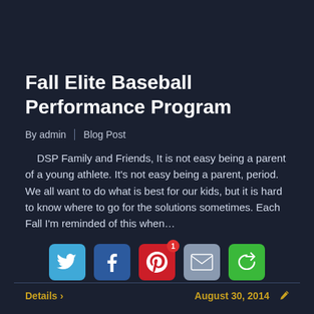Fall Elite Baseball Performance Program
By admin  |  Blog Post
DSP Family and Friends, It is not easy being a parent of a young athlete. It's not easy being a parent, period. We all want to do what is best for our kids, but it is hard to know where to go for the solutions sometimes. Each Fall I'm reminded of this when…
[Figure (infographic): Social media sharing icons: Twitter (blue bird), Facebook (blue f), Pinterest (red P with badge showing 1), Email (grey envelope), Share (green circular arrow)]
Details >
August 30, 2014 ✏